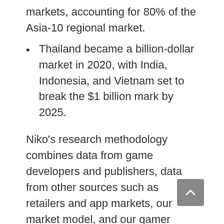markets, accounting for 80% of the Asia-10 regional market.
Thailand became a billion-dollar market in 2020, with India, Indonesia, and Vietnam set to break the $1 billion mark by 2025.
Niko’s research methodology combines data from game developers and publishers, data from other sources such as retailers and app markets, our market model, and our gamer surveys. We also regularly interview executives at games and hardware companies as well as government officials. We leverage our own proprietary primary data combined with direct access to a panel of millions of consumers throughout Asia, to create